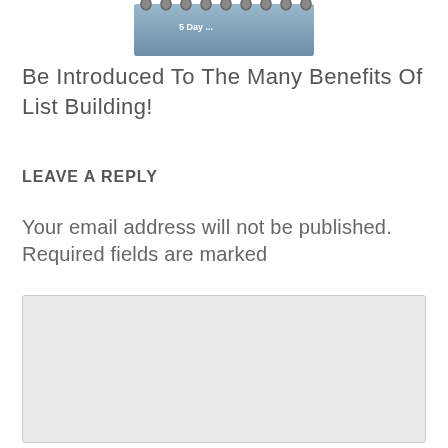[Figure (illustration): Partial view of a spiral-bound book or notebook at the top of the page]
Be Introduced To The Many Benefits Of List Building!
LEAVE A REPLY
Your email address will not be published. Required fields are marked
Comment